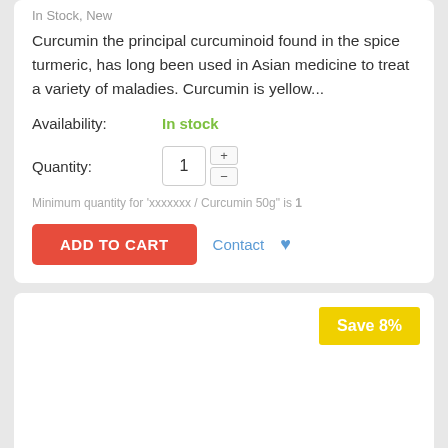In Stock, New
Curcumin the principal curcuminoid found in the spice turmeric, has long been used in Asian medicine to treat a variety of maladies. Curcumin is yellow...
Availability: In stock
Quantity: 1
Minimum quantity for 'xxxxxxx / Curcumin 50g" is 1
ADD TO CART  Contact
Save 8%